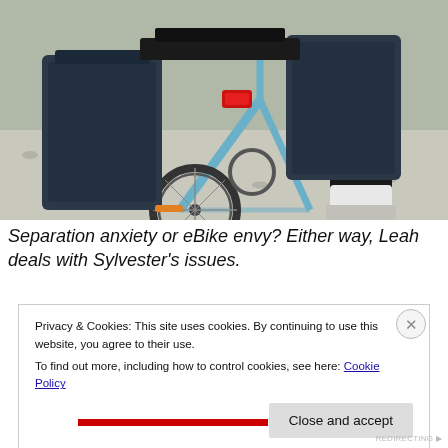[Figure (photo): Rear view of a bicycle with dark blue panniers/bags on both sides, a red rear light visible, on a gravel path. A person in black cycling shorts and white socks stands beside/behind the bike.]
Separation anxiety or eBike envy? Either way, Leah deals with Sylvester's issues.
Privacy & Cookies: This site uses cookies. By continuing to use this website, you agree to their use.
To find out more, including how to control cookies, see here: Cookie Policy
Close and accept